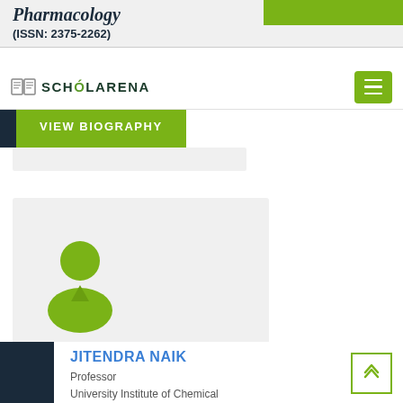Pharmacology (ISSN: 2375-2262)
[Figure (logo): ScholarArena logo with book icon and green text]
VIEW BIOGRAPHY
[Figure (illustration): Generic user/person avatar icon in green on light grey background]
JITENDRA NAIK
Professor
University Institute of Chemical Technology